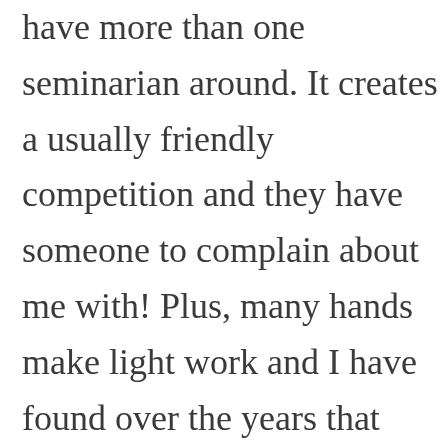have more than one seminarian around. It creates a usually friendly competition and they have someone to complain about me with! Plus, many hands make light work and I have found over the years that seminarians accomplish a great deal of ministry in their 10-13